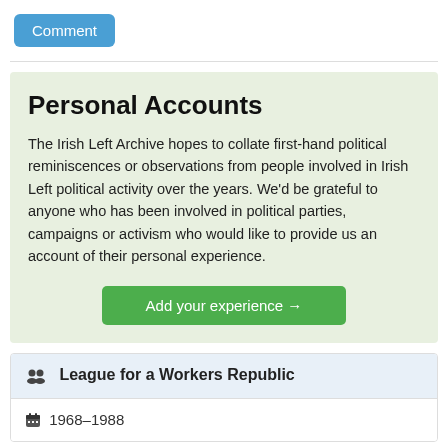Comment
Personal Accounts
The Irish Left Archive hopes to collate first-hand political reminiscences or observations from people involved in Irish Left political activity over the years. We'd be grateful to anyone who has been involved in political parties, campaigns or activism who would like to provide us an account of their personal experience.
Add your experience →
League for a Workers Republic
1968–1988